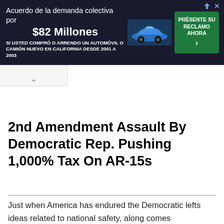[Figure (other): Advertisement banner in dark navy background. Text in Spanish: 'Acuerdo de la demanda colectiva por $82 Millones' and 'SI USTED COMPRÓ O ARRENDO UN AUTOMÓVIL O CAMIÓN NUEVO EN CALIFORNIA DESDE 2001 A 2003'. Image of a blue car on the right with a green button 'PRÉSENTE SU RECLAMO AHORA'.]
2nd Amendment Assault By Democratic Rep. Pushing 1,000% Tax On AR-15s
Just when America has endured the Democratic lefts ideas related to national safety, along comes Representative Don Beyer (D-VA) who proposes